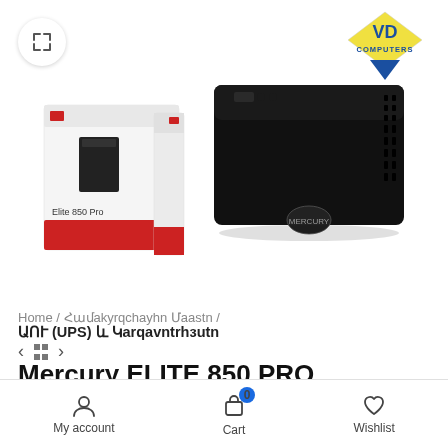[Figure (photo): Product photo of Mercury ELITE 850 PRO Line UPS device (black tower unit) alongside its retail box packaging. VD Computers logo (yellow and blue diamond shape with text) appears in the top-right corner. An expand/zoom icon button appears in the top-left corner.]
Home / Համակարգչային Մaաstn / ԱՈՒ (UPS) և Կarqavnthзutn
Mercury ELITE 850 PRO Line UPS
29.000AMD
My account
Cart
Wishlist